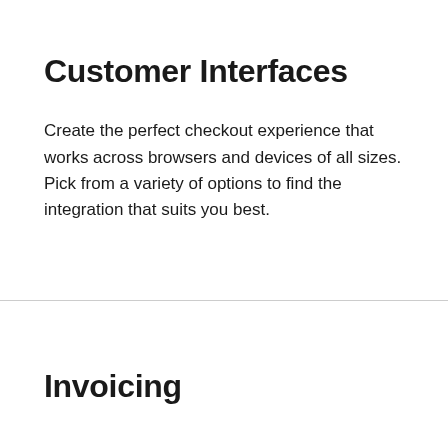Customer Interfaces
Create the perfect checkout experience that works across browsers and devices of all sizes. Pick from a variety of options to find the integration that suits you best.
Invoicing